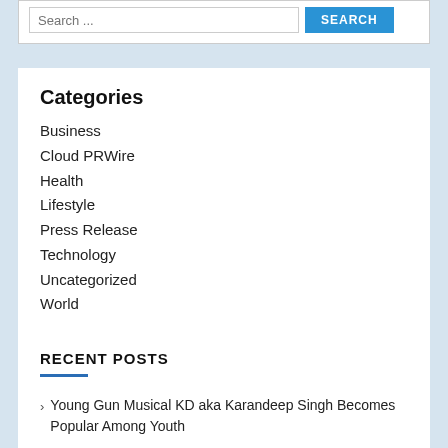Search ...
Categories
Business
Cloud PRWire
Health
Lifestyle
Press Release
Technology
Uncategorized
World
RECENT POSTS
Young Gun Musical KD aka Karandeep Singh Becomes Popular Among Youth